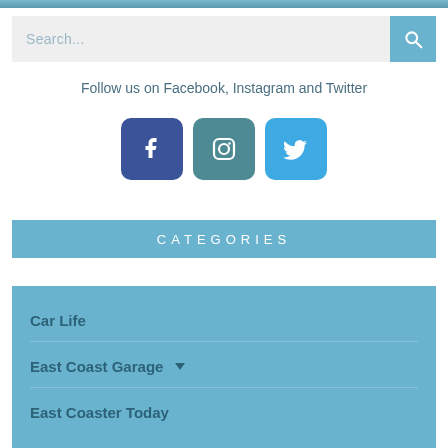[Figure (photo): Cropped top edge of a car/vehicle photo in blue tones]
Search...
Follow us on Facebook, Instagram and Twitter
[Figure (illustration): Facebook, Instagram, and Twitter social media icons as rounded square buttons]
CATEGORIES
Car Life
East Coast Garage
East Coaster Today